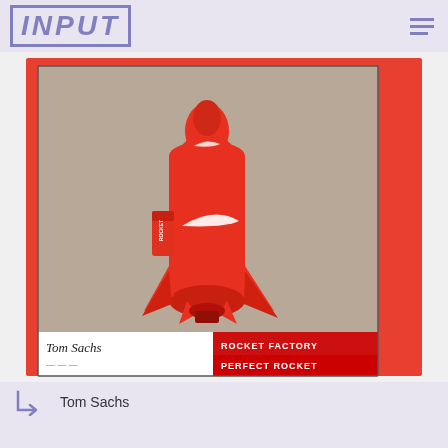INPUT
[Figure (illustration): Illustration of an orange rocket with Nike branding (swoosh logo), drawn in a hand-made art style on a tan/beige background. The rocket has Nike text and swoosh on its body and fins. Below the rocket is a label area with a cursive signature 'Tom Sachs' on the left and 'ROCKET FACTORY / PERFECT ROCKET' text on the right in a red box.]
Tom Sachs